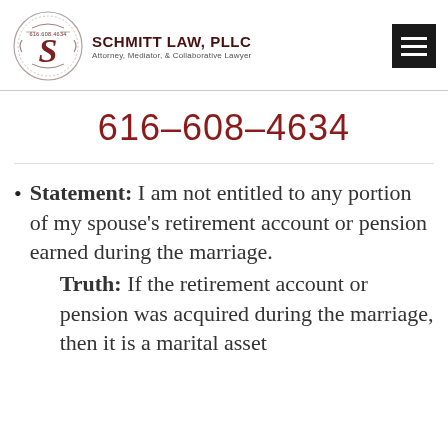SCHMITT LAW, PLLC — Attorney, Mediator, & Collaborative Lawyer — 616.608.4634
616-608-4634
Statement: I am not entitled to any portion of my spouse's retirement account or pension earned during the marriage. Truth: If the retirement account or pension was acquired during the marriage, then it is a marital asset